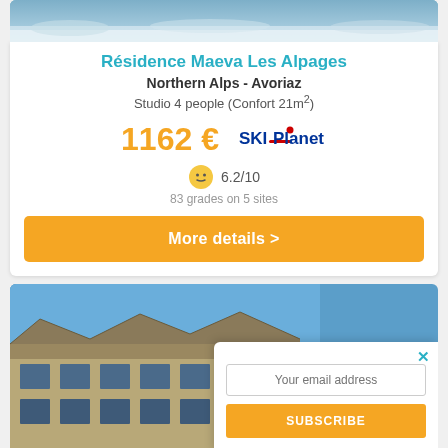[Figure (photo): Top portion of a ski resort photo showing snowy slopes and small figures skiing]
Résidence Maeva Les Alpages
Northern Alps - Avoriaz
Studio 4 people (Confort 21m²)
1162 €
[Figure (logo): SKI-Planet logo with red and blue text]
6.2/10
83 grades on 5 sites
More details >
[Figure (photo): Photo of a large ski chalet/apartment building against a clear blue sky]
Your email address
SUBSCRIBE